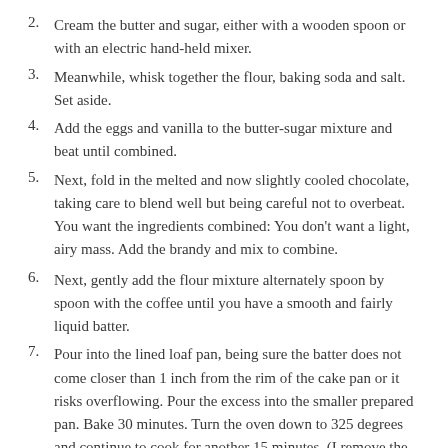2. Cream the butter and sugar, either with a wooden spoon or with an electric hand-held mixer.
3. Meanwhile, whisk together the flour, baking soda and salt. Set aside.
4. Add the eggs and vanilla to the butter-sugar mixture and beat until combined.
5. Next, fold in the melted and now slightly cooled chocolate, taking care to blend well but being careful not to overbeat. You want the ingredients combined: You don't want a light, airy mass. Add the brandy and mix to combine.
6. Next, gently add the flour mixture alternately spoon by spoon with the coffee until you have a smooth and fairly liquid batter.
7. Pour into the lined loaf pan, being sure the batter does not come closer than 1 inch from the rim of the cake pan or it risks overflowing. Pour the excess into the smaller prepared pan. Bake 30 minutes. Turn the oven down to 325 degrees and continue to cook for another 15 minutes. (I remove the smaller pan after the first 30 minutes.) The cake will still be a bit squidgy inside, so an inserted cake tester or skewer won't come out completely clean. Place the loaf pan on a rack, and leave to get completely cold before turning it out. (Leave it for a whole day if you can resist.) Don't worry if it sinks in the middle — it will do